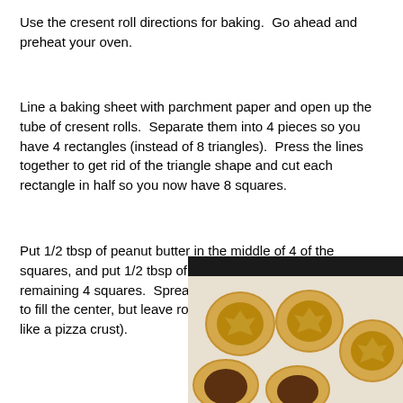Use the cresent roll directions for baking.  Go ahead and preheat your oven.
Line a baking sheet with parchment paper and open up the tube of cresent rolls.  Separate them into 4 pieces so you have 4 rectangles (instead of 8 triangles).  Press the lines together to get rid of the triangle shape and cut each rectangle in half so you now have 8 squares.
Put 1/2 tbsp of peanut butter in the middle of 4 of the squares, and put 1/2 tbsp of Nutella in the middle of the remaining 4 squares.  Spread the peanut butter and nutella to fill the center, but leave room around the edges (kind of like a pizza crust).
[Figure (photo): Photo of crescent roll pastries filled with peanut butter and Nutella on a baking sheet lined with parchment paper, viewed from above.]